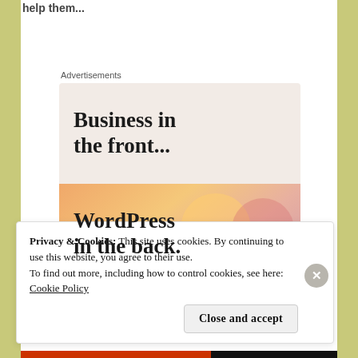help them...
Advertisements
[Figure (illustration): Advertisement banner: top half shows 'Business in the front...' on light cream/pink background; bottom half shows 'WordPress in the back.' on orange gradient background with decorative circles.]
Privacy & Cookies: This site uses cookies. By continuing to use this website, you agree to their use.
To find out more, including how to control cookies, see here: Cookie Policy
Close and accept